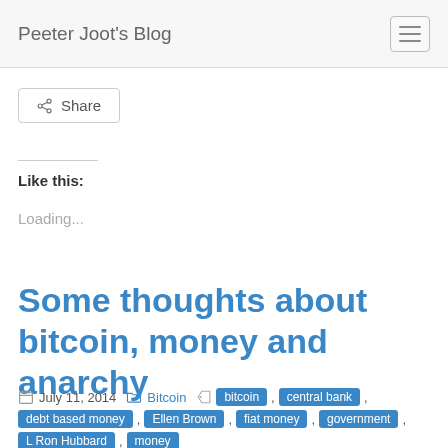Peeter Joot's Blog
Share
Like this:
Loading...
Some thoughts about bitcoin, money and anarchy
July 11, 2014  Bitcoin  bitcoin , central bank , debt based money , Ellen Brown , fiat money , government , L Ron Hubbard , money